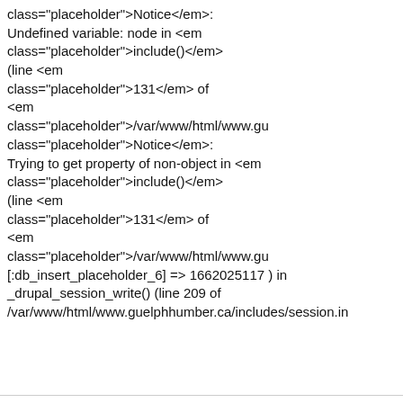class=&quot;placeholder&quot;&gt;Notice&lt;/em&gt;: Undefined variable: node in &lt;em class=&quot;placeholder&quot;&gt;include()&lt;/em&gt; (line &lt;em class=&quot;placeholder&quot;&gt;131&lt;/em&gt; of &lt;em class=&quot;placeholder&quot;&gt;/var/www/html/www.gu class=&quot;placeholder&quot;&gt;Notice&lt;/em&gt;: Trying to get property of non-object in &lt;em class=&quot;placeholder&quot;&gt;include()&lt;/em&gt; (line &lt;em class=&quot;placeholder&quot;&gt;131&lt;/em&gt; of &lt;em class=&quot;placeholder&quot;&gt;/var/www/html/www.gu [:db_insert_placeholder_6] =&gt; 1662025117 ) in _drupal_session_write() (line 209 of /var/www/html/www.guelphhumber.ca/includes/session.in